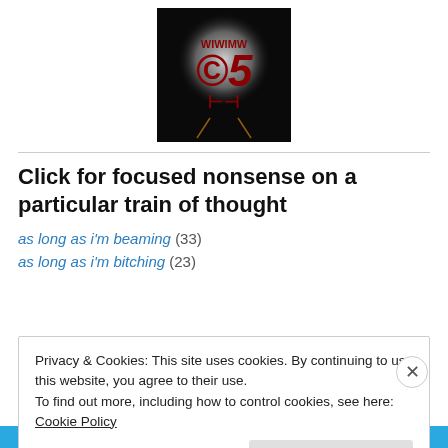[Figure (logo): A dark stylized logo with red graffiti-like art inside a glowing circular spotlight — appears to be a blog or website logo with symbolic imagery.]
Click for focused nonsense on a particular train of thought
as long as i'm beaming (33)
as long as i'm bitching (23)
Privacy & Cookies: This site uses cookies. By continuing to use this website, you agree to their use.
To find out more, including how to control cookies, see here: Cookie Policy